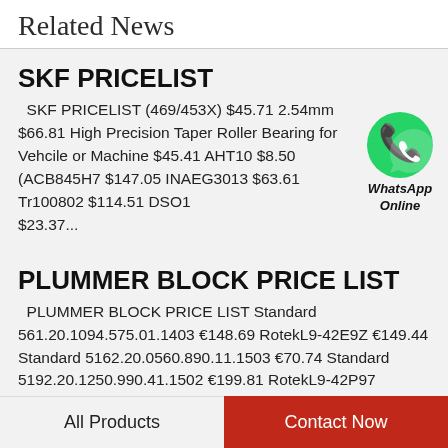Related News
SKF PRICELIST
SKF PRICELIST (469/453X) $45.71 2.54mm $66.81 High Precision Taper Roller Bearing for Vehcile or Machine $45.41 AHT10 $8.50 (ACB845H7 $147.05 INAEG3013 $63.61 Tr100802 $114.51 DSO12° $23.37...
[Figure (logo): WhatsApp green circle logo with phone icon, labeled WhatsApp Online]
PLUMMER BLOCK PRICE LIST
PLUMMER BLOCK PRICE LIST Standard 561.20.1094.575.01.1403 €148.69 RotekL9-42E9Z €149.44 Standard 5162.20.0560.890.11.1503 €70.74 Standard 5192.20.1250.990.41.1502 €199.81 RotekL9-42P97 €130.32 Standard.
All Products   Contact Now